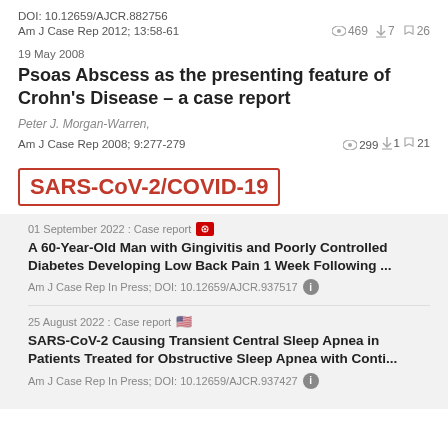DOI: 10.12659/AJCR.882756
Am J Case Rep 2012; 13:58-61   👁 469  ⬇ 7  ❞ 26
19 May 2008
Psoas Abscess as the presenting feature of Crohn's Disease – a case report
Peter J. Morgan-Warren,
Am J Case Rep 2008; 9:277-279   👁 299  ⬇ 1  ❞ 21
SARS-CoV-2/COVID-19
01 September 2022 : Case report 🇭🇰
A 60-Year-Old Man with Gingivitis and Poorly Controlled Diabetes Developing Low Back Pain 1 Week Following ...
Am J Case Rep In Press; DOI: 10.12659/AJCR.937517
25 August 2022 : Case report 🇺🇸
SARS-CoV-2 Causing Transient Central Sleep Apnea in Patients Treated for Obstructive Sleep Apnea with Conti...
Am J Case Rep In Press; DOI: 10.12659/AJCR.937427